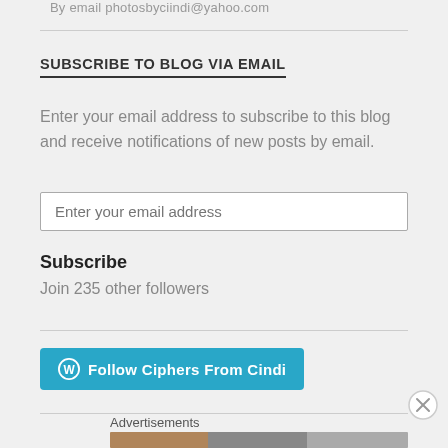By email photosbyciindi@yahoo.com
SUBSCRIBE TO BLOG VIA EMAIL
Enter your email address to subscribe to this blog and receive notifications of new posts by email.
Subscribe
Join 235 other followers
[Figure (other): Follow Ciphers From Cindi button with WordPress logo]
Advertisements